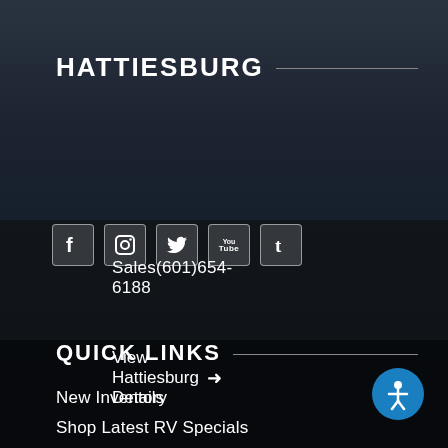HATTIESBURG
Sales(601)654-6188
View Hattiesburg Details →
[Figure (illustration): Row of social media icons: Facebook, Instagram, Twitter, YouTube, Tumblr]
[Figure (photo): Dark background with RV/trailer silhouette parked outdoors at dusk]
QUICK LINKS
New Inventory
Shop Latest RV Specials
Service Department
Used Inventory